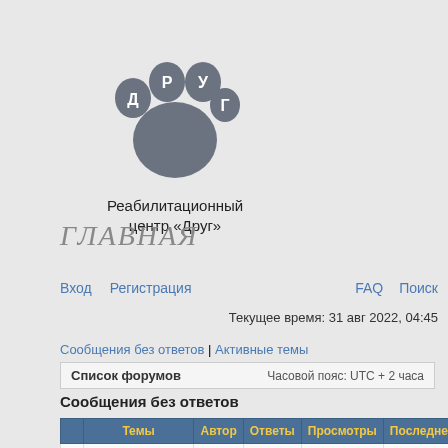[Figure (logo): Paw print logo with Cyrillic letters Р, У, Д, Г on the toe pads and a large central pad]
Реабилитационный центр «Друг»
ГЛАВНАЯ
Вход   Регистрация   FAQ   Поиск
Текущее время: 31 авг 2022, 04:45
Сообщения без ответов | Активные темы
|  | Список форумов | Часовой пояс: UTC + 2 часа |
| --- | --- | --- |
Сообщения без ответов
|  | Темы | Автор | Ответы | Просмотры | Последне |
| --- | --- | --- | --- | --- | --- |
|  | Abnormal tetracycline haemodialysis |  |  |  |  |